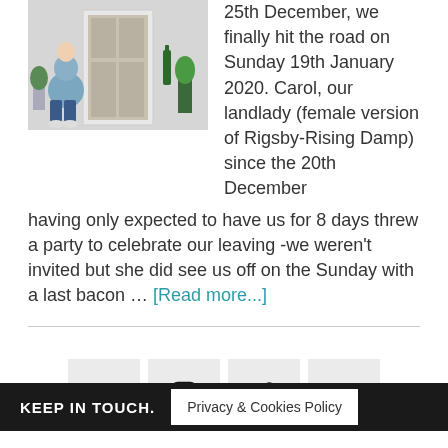[Figure (photo): Person sitting on steps outside a building entrance with plants]
25th December, we finally hit the road on Sunday 19th January 2020. Carol, our landlady (female version of Rigsby-Rising Damp) since the 20th December having only expected to have us for 8 days threw a party to celebrate our leaving -we weren't invited but she did see us off on the Sunday with a last bacon … [Read more...]
[Figure (infographic): Social media icons: Facebook, Instagram, Twitter, YouTube]
KEEP IN TOUCH.   Privacy & Cookies Policy